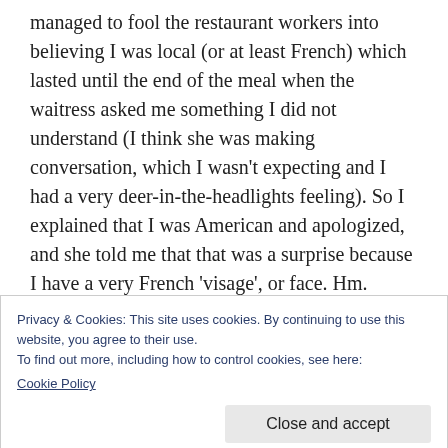managed to fool the restaurant workers into believing I was local (or at least French) which lasted until the end of the meal when the waitress asked me something I did not understand (I think she was making conversation, which I wasn't expecting and I had a very deer-in-the-headlights feeling). So I explained that I was American and apologized, and she told me that that was a surprise because I have a very French 'visage', or face. Hm. Okay, I'll take it.
Privacy & Cookies: This site uses cookies. By continuing to use this website, you agree to their use.
To find out more, including how to control cookies, see here: Cookie Policy
Close and accept